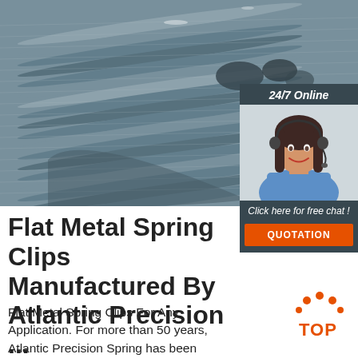[Figure (photo): Bundles of steel rebar rods stacked together in a warehouse or industrial setting, viewed from the side showing parallel cylindrical metal bars.]
[Figure (photo): Customer service representative woman with headset smiling, shown in a 24/7 Online chat widget sidebar with dark blue-grey background. Includes 'Click here for free chat!' text and an orange QUOTATION button.]
Flat Metal Spring Clips Manufactured By Atlantic Precision ...
Flat Metal Spring Clips For Any Application. For more than 50 years, Atlantic Precision Spring has been providing custom metal stampings, electrical contacts, metal spring clips, wire forms and
[Figure (logo): TOP badge logo with orange dots arranged in a triangle/arc pattern above orange TOP text]